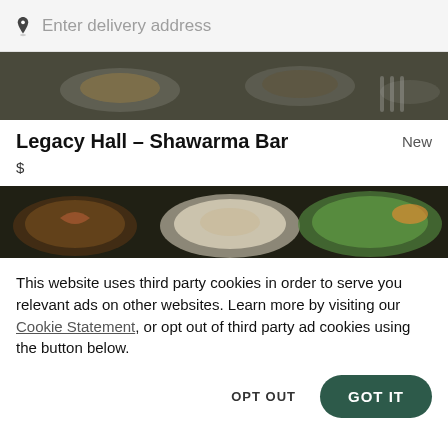Enter delivery address
[Figure (photo): Food items on plates, top banner image of a restaurant listing]
Legacy Hall – Shawarma Bar
New
$
[Figure (photo): Bowls of food including a green dish, bottom banner image of a restaurant listing]
This website uses third party cookies in order to serve you relevant ads on other websites. Learn more by visiting our Cookie Statement, or opt out of third party ad cookies using the button below.
OPT OUT
GOT IT